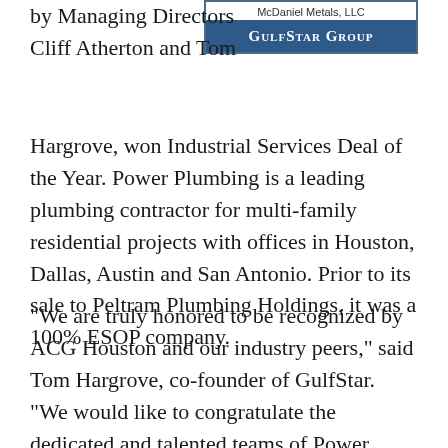[Figure (logo): GulfStar Group logo with 'McDaniel Metals, LLC' text above a dark blue banner reading 'GulfStar Group']
by Managing Directors Cliff Atherton and Tom
Hargrove, won Industrial Services Deal of the Year. Power Plumbing is a leading plumbing contractor for multi-family residential projects with offices in Houston, Dallas, Austin and San Antonio. Prior to its sale to Peltram Plumbing Holdings, it was a 100% ESOP company.
“We are truly honored to be recognized by ACG Houston and our industry peers," said Tom Hargrove, co-founder of GulfStar. "We would like to congratulate the dedicated and talented teams of Power Plumbing, Peltram Plumbing Holdings and